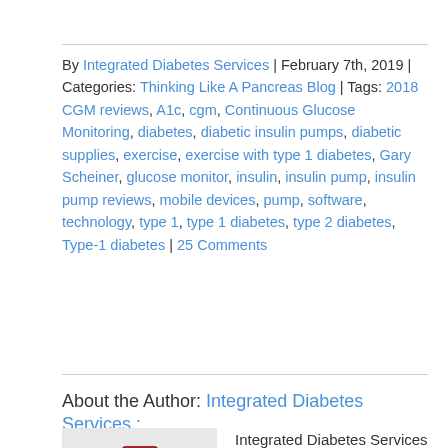By Integrated Diabetes Services | February 7th, 2019 | Categories: Thinking Like A Pancreas Blog | Tags: 2018 CGM reviews, A1c, cgm, Continuous Glucose Monitoring, diabetes, diabetic insulin pumps, diabetic supplies, exercise, exercise with type 1 diabetes, Gary Scheiner, glucose monitor, insulin, insulin pump, insulin pump reviews, mobile devices, pump, software, technology, type 1, type 1 diabetes, type 2 diabetes, Type-1 diabetes | 25 Comments
About the Author: Integrated Diabetes Services :
[Figure (photo): Photo of an insulin vial with a red cap on a light background]
Integrated Diabetes Services is the worldwide leader in one-on-one consulting for people who use insulin. Diabetes “coaching” services are available in-person and remotely via phone and the internet for children and adults.